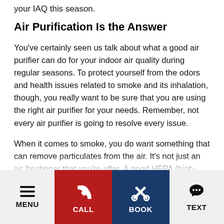your IAQ this season.
Air Purification Is the Answer
You've certainly seen us talk about what a good air purifier can do for your indoor air quality during regular seasons. To protect yourself from the odors and health issues related to smoke and its inhalation, though, you really want to be sure that you are using the right air purifier for your needs. Remember, not every air purifier is going to resolve every issue.
When it comes to smoke, you do want something that can remove particulates from the air. It's not just an air freshener that you're after. A good HEPA (high-efficiency particulate air) filter will be able to remove particle
MENU   CALL   BOOK   TEXT